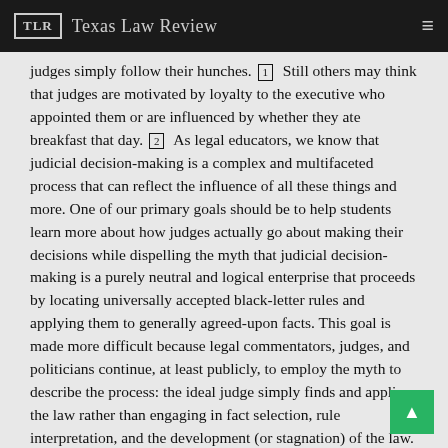TLR  Texas Law Review
judges simply follow their hunches. [1] Still others may think that judges are motivated by loyalty to the executive who appointed them or are influenced by whether they ate breakfast that day. [2] As legal educators, we know that judicial decision-making is a complex and multifaceted process that can reflect the influence of all these things and more. One of our primary goals should be to help students learn more about how judges actually go about making their decisions while dispelling the myth that judicial decision-making is a purely neutral and logical enterprise that proceeds by locating universally accepted black-letter rules and applying them to generally agreed-upon facts. This goal is made more difficult because legal commentators, judges, and politicians continue, at least publicly, to employ the myth to describe the process: the ideal judge simply finds and applies the law rather than engaging in fact selection, rule interpretation, and the development (or stagnation) of the law. [3]
Most legal educators agree that our pedagogical goals are much